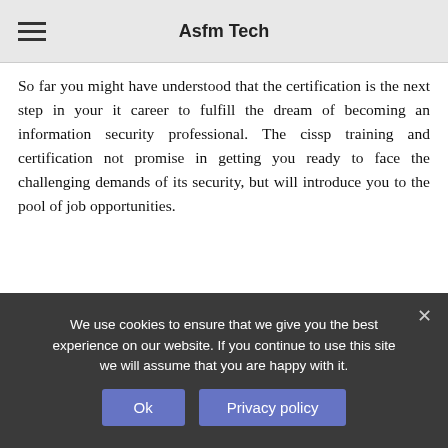Asfm Tech
So far you might have understood that the certification is the next step in your it career to fulfill the dream of becoming an information security professional. The cissp training and certification not promise in getting you ready to face the challenging demands of its security, but will introduce you to the pool of job opportunities.
RELATED ARTICLES
We use cookies to ensure that we give you the best experience on our website. If you continue to use this site we will assume that you are happy with it.